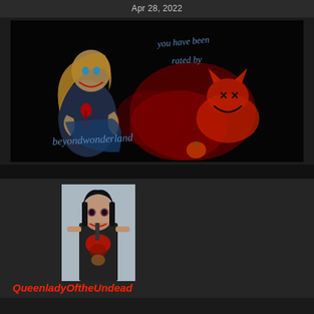Apr 28, 2022
[Figure (illustration): Dark horror-themed illustration showing a zombie-like Alice in Wonderland character with handwritten blue text reading 'you have been rated by beyondwonderland', with a creepy red Cheshire cat figure and pumpkin in the background]
[Figure (photo): Profile photo of a woman with dark hair and makeup in a zombie/horror costume holding something, on a light background]
QueenladyOftheUndead